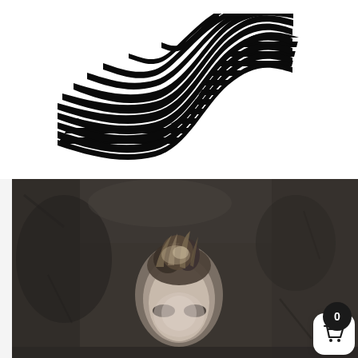[Figure (illustration): Op-art style black and white wavy horizontal stripes forming a ribbon or wave illusion on white background]
[Figure (photo): Dark, moody photograph of what appears to be a pale ghostly face or figure with textured crown-like top, set against a dark grungy background]